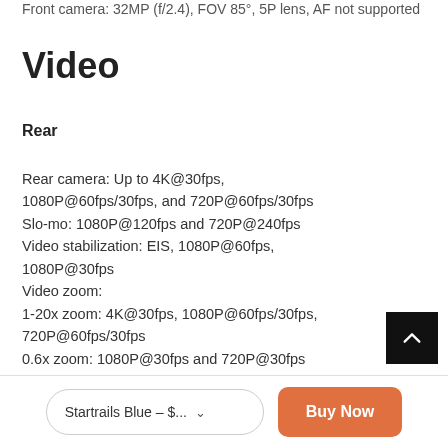Front camera: 32MP (f/2.4), FOV 85°, 5P lens, AF not supported
Video
Rear
Rear camera: Up to 4K@30fps, 1080P@60fps/30fps, and 720P@60fps/30fps
Slo-mo: 1080P@120fps and 720P@240fps
Video stabilization: EIS, 1080P@60fps, 1080P@30fps
Video zoom:
1-20x zoom: 4K@30fps, 1080P@60fps/30fps, 720P@60fps/30fps
0.6x zoom: 1080P@30fps and 720P@30fps
Startrails Blue – $...
Buy Now